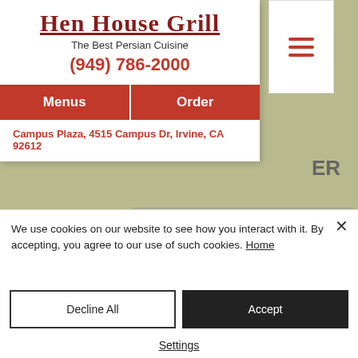HEN HOUSE GRILL
The Best Persian Cuisine
(949) 786-2000
Menus   Order
Campus Plaza, 4515 Campus Dr, Irvine, CA 92612
FAMILY SPECIALS
ALL FAMILY SPECIALS SERVED WITH HOUSE SALAD AND FRESH AND HOT BREAD (TAFTOON/NAAN).
We use cookies on our website to see how you interact with it. By accepting, you agree to our use of such cookies. Home
Decline All
Accept
Settings